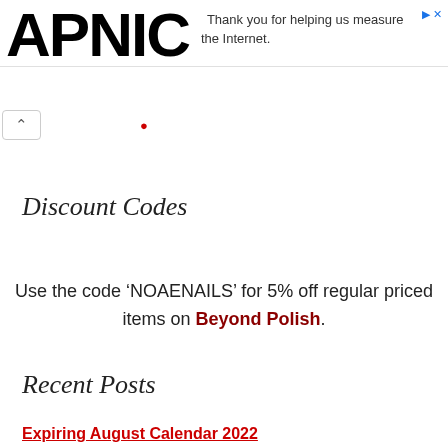APNIC
Thank you for helping us measure the Internet.
Discount Codes
Use the code ‘NOAENAILS’ for 5% off regular priced items on Beyond Polish.
Recent Posts
Expiring August Calendar 2022